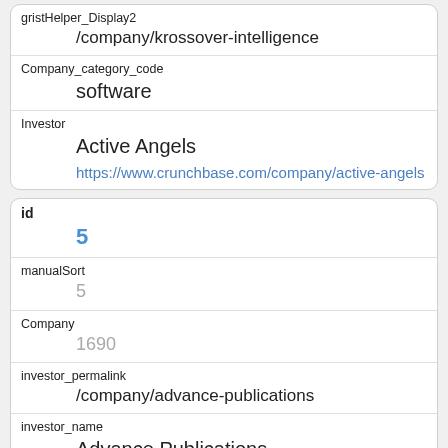gristHelper_Display2
/company/krossover-intelligence
Company_category_code
software
Investor
Active Angels
https://www.crunchbase.com/company/active-angels
id
5
manualSort
5
Company
1690
investor_permalink
/company/advance-publications
investor_name
Advance Publications
investor_category_code